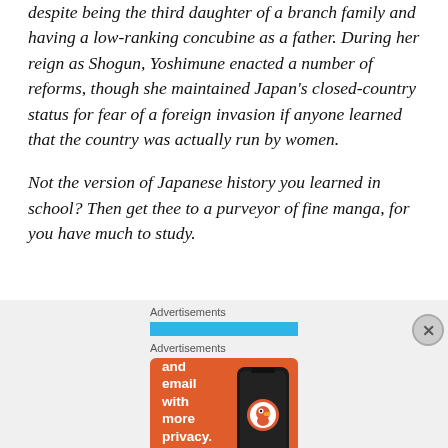despite being the third daughter of a branch family and having a low-ranking concubine as a father. During her reign as Shogun, Yoshimune enacted a number of reforms, though she maintained Japan's closed-country status for fear of a foreign invasion if anyone learned that the country was actually run by women.
Not the version of Japanese history you learned in school? Then get thee to a purveyor of fine manga, for you have much to study.
Advertisements
[Figure (screenshot): DuckDuckGo advertisement showing orange background with phone graphic, text 'Search, browse, and email with more privacy.' and button 'All in One Free App']